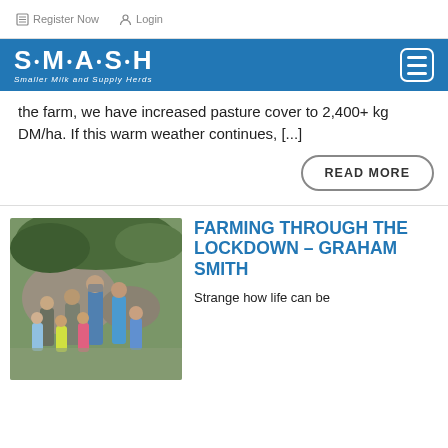Register Now   Login
[Figure (logo): SMASH logo with tagline 'Smaller Milk and Supply Herds' on blue navigation bar with hamburger menu icon]
the farm, we have increased pasture cover to 2,400+ kg DM/ha. If this warm weather continues, [...]
READ MORE
[Figure (photo): Group of people including adults and children standing outdoors near large rocks and trees]
FARMING THROUGH THE LOCKDOWN – GRAHAM SMITH
Strange how life can be